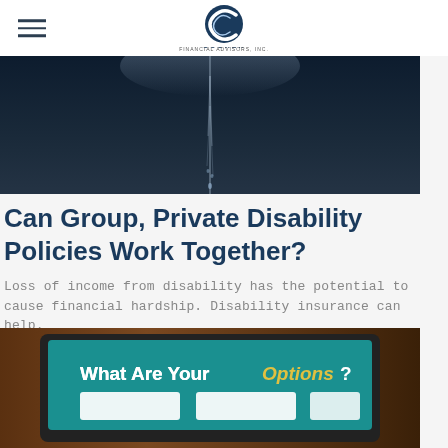COONEY FINANCIAL ADVISORS, INC.
[Figure (photo): Dark blue close-up photo of water droplets or rain, abstract background]
Can Group, Private Disability Policies Work Together?
Loss of income from disability has the potential to cause financial hardship. Disability insurance can help.
[Figure (photo): Tablet screen showing text 'What Are Your Options?' with Options in yellow/gold color, on teal background, with white card graphics below]